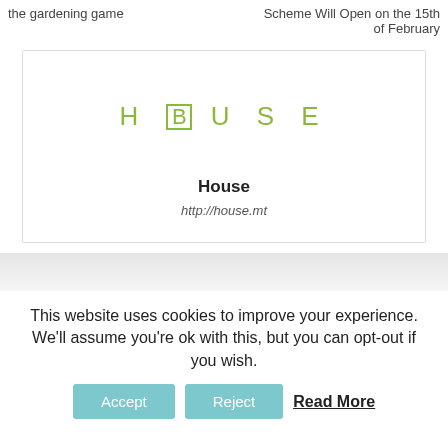the gardening game
Scheme Will Open on the 15th of February
[Figure (logo): House logo with green spaced lettering HOUSE where B is enclosed in a square]
House
http://house.mt
This website uses cookies to improve your experience. We'll assume you're ok with this, but you can opt-out if you wish.
Accept  Reject  Read More